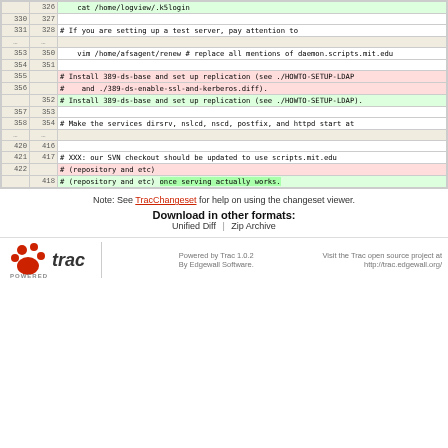|  |  | code |
| --- | --- | --- |
|  | 326 |     cat /home/logview/.k5login |
| 330 | 327 |  |
| 331 | 328 | # If you are setting up a test server, pay attention to |
| .... | .... |  |
| 353 | 350 |     vim /home/afsagent/renew # replace all mentions of daemon.scripts.mit.edu |
| 354 | 351 |  |
| 355 |  | # Install 389-ds-base and set up replication (see ./HOWTO-SETUP-LDAP |
| 356 |  | #    and ./389-ds-enable-ssl-and-kerberos.diff). |
|  | 352 | # Install 389-ds-base and set up replication (see ./HOWTO-SETUP-LDAP). |
| 357 | 353 |  |
| 358 | 354 | # Make the services dirsrv, nslcd, nscd, postfix, and httpd start at |
| .... | .... |  |
| 420 | 416 |  |
| 421 | 417 | # XXX: our SVN checkout should be updated to use scripts.mit.edu |
| 422 |  | # (repository and etc) |
|  | 418 | # (repository and etc) once serving actually works. |
Note: See TracChangeset for help on using the changeset viewer.
Download in other formats:
Unified Diff | Zip Archive
Powered by Trac 1.0.2 By Edgewall Software. Visit the Trac open source project at http://trac.edgewall.org/